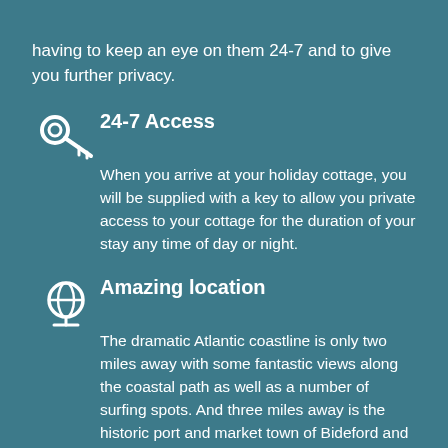having to keep an eye on them 24-7 and to give you further privacy.
24-7 Access
When you arrive at your holiday cottage, you will be supplied with a key to allow you private access to your cottage for the duration of your stay any time of day or night.
Amazing location
The dramatic Atlantic coastline is only two miles away with some fantastic views along the coastal path as well as a number of surfing spots. And three miles away is the historic port and market town of Bideford and the beach at Westward Ho!